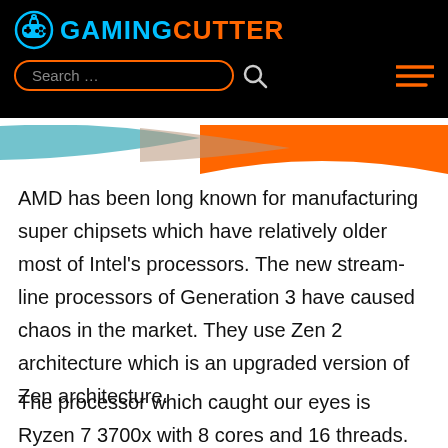GAMINGCUTTER
AMD has been long known for manufacturing super chipsets which have relatively older most of Intel’s processors. The new stream-line processors of Generation 3 have caused chaos in the market. They use Zen 2 architecture which is an upgraded version of Zen architecture.
The processor which caught our eyes is Ryzen 7 3700x with 8 cores and 16 threads. It’s natural to